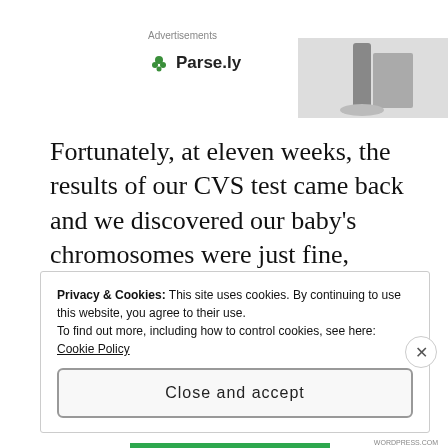Advertisements
[Figure (logo): Parse.ly logo with green leaf icon and bold text 'Parse.ly']
[Figure (photo): Partial photo visible in upper right corner, appears to be a dark object on light background]
Fortunately, at eleven weeks, the results of our CVS test came back and we discovered our baby's chromosomes were just fine, although we would still need to undergo more tests throughout the rest of the pregnancy.
Privacy & Cookies: This site uses cookies. By continuing to use this website, you agree to their use.
To find out more, including how to control cookies, see here: Cookie Policy
Close and accept